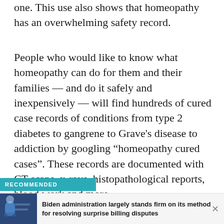one. This use also shows that homeopathy has an overwhelming safety record.
People who would like to know what homeopathy can do for them and their families — and do it safely and inexpensively — will find hundreds of cured case records of conditions from type 2 diabetes to gangrene to Grave's disease to addiction by googling “homeopathy cured cases”. These records are documented with CT scans, x-rays, histopathological reports, blood work and more.
RECOMMENDED
Biden administration largely stands firm on its method for resolving surprise billing disputes